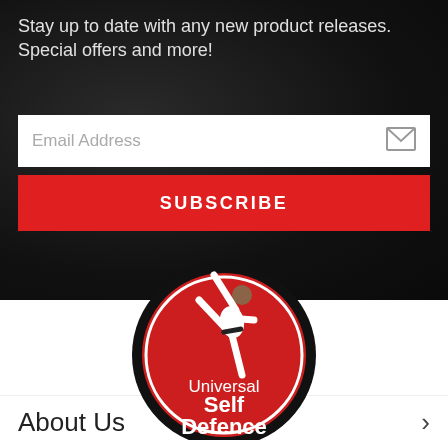Stay up to date with any new product releases. Special offers and more!
[Figure (other): Email address input field with envelope icon]
[Figure (other): Red SUBSCRIBE button]
[Figure (logo): Universal Self Defence logo — red circle with karate martial artist figure and text 'Universal Self Defence']
About Us